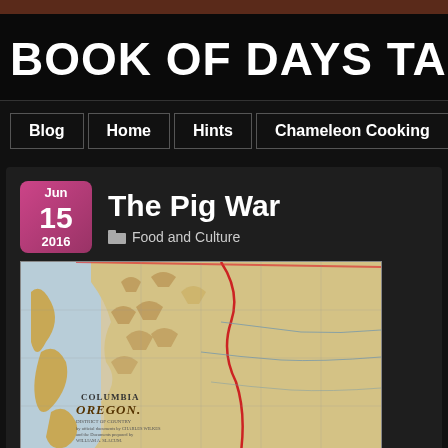BOOK OF DAYS TALES
Blog | Home | Hints | Chameleon Cooking
The Pig War
Jun 15 2016
Food and Culture
[Figure (map): Historical map of Columbia and Oregon territory showing the Pacific Northwest coast, with a red boundary line marking the border, and text reading COLUMBIA, OREGON in the lower left.]